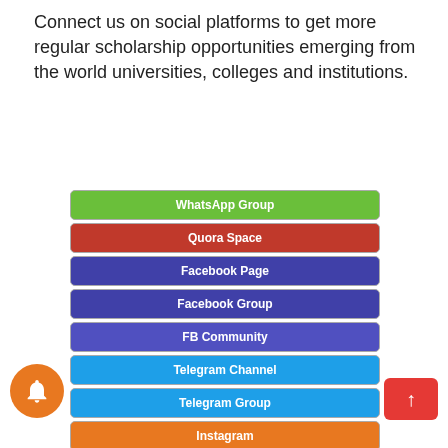Connect us on social platforms to get more regular scholarship opportunities emerging from the world universities, colleges and institutions.
WhatsApp Group
Quora Space
Facebook Page
Facebook Group
FB Community
Telegram Channel
Telegram Group
Instagram
Linkedin Page
Linkedin Group
SnapChat
Twitter